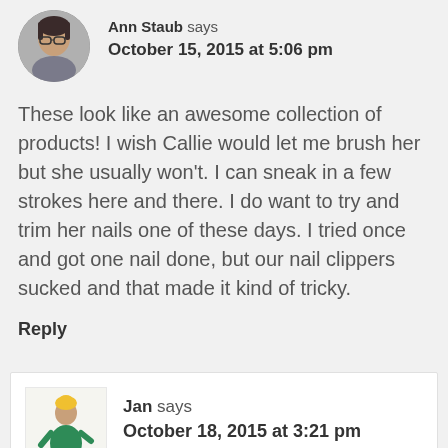[Figure (photo): Avatar photo of Ann Staub — woman with glasses and dark hair]
Ann Staub says
October 15, 2015 at 5:06 pm
These look like an awesome collection of products! I wish Callie would let me brush her but she usually won't. I can sneak in a few strokes here and there. I do want to try and trim her nails one of these days. I tried once and got one nail done, but our nail clippers sucked and that made it kind of tricky.
Reply
[Figure (illustration): Cartoon illustration of a woman in a green dress walking — Jan's avatar]
Jan says
October 18, 2015 at 3:21 pm
You definitely need something that works